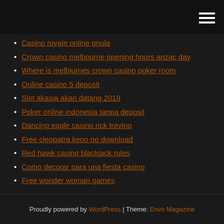[hamburger menu icon]
Casino royale online gnula
Crown casino melbourne opening hours anzac day
Where is melbiurnes crown casino poker room
Online casino 5 deposit
Slot akasia akan datang 2019
Poker online indonesia tanpa deposit
Dancing eagle casino rick trevino
Free cleopatra keno no download
Red hawk casino blackjack rules
Como decorar para una fiesta casino
Free wonder woman games
Proudly powered by WordPress | Theme: Envo Magazine